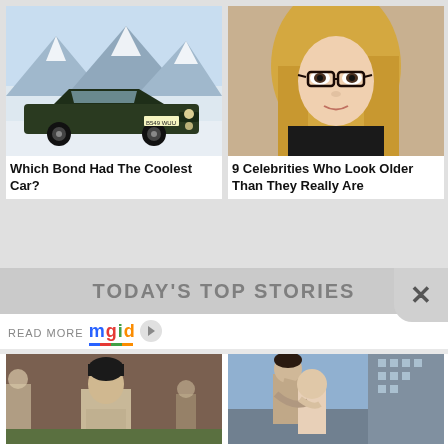[Figure (photo): Dark green classic Aston Martin car with license plate B549 WUU in snowy background]
Which Bond Had The Coolest Car?
[Figure (photo): Blonde woman wearing black glasses and black top, looking at camera]
9 Celebrities Who Look Older Than They Really Are
TODAY'S TOP STORIES
READ MORE mgid
[Figure (photo): Person in prison uniform standing in a yard, Netflix show scene]
7 Netflix Shows Cancelled Because They Don't Get The Ratings
[Figure (photo): Man and woman embracing on a rooftop with city buildings in background]
Add Positivity: How Your Mindset Shapes Your Love Life